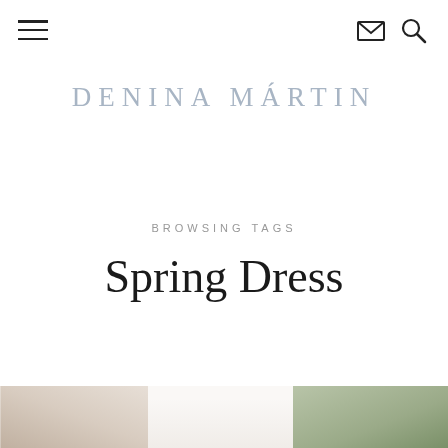Navigation header with hamburger menu, email icon, and search icon
DENINA MÁRTIN
BROWSING TAGS
Spring Dress
[Figure (photo): Bottom strip showing a partial photograph of a person, cropped at the edge of the page]